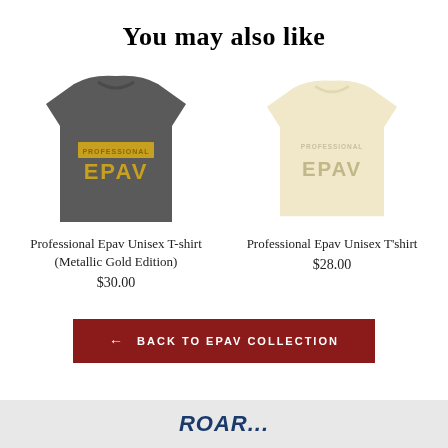You may also like
[Figure (photo): Dark gray t-shirt with gold 'PROFESSIONAL EPAV' text printed on front]
Professional Epav Unisex T-shirt (Metallic Gold Edition)
$30.00
[Figure (photo): Light cream/beige t-shirt with 'PROFESSIONAL EPAV' text printed on front]
Professional Epav Unisex T'shirt
$28.00
← BACK TO EPAV COLLECTION
ROAR...